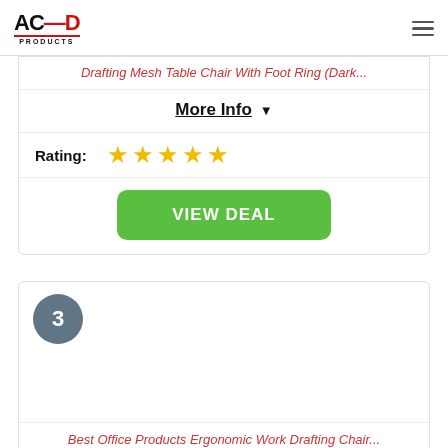ACED PRODUCTS
Drafting Mesh Table Chair With Foot Ring (Dark...
More Info ▼
Rating: ★★★★★
VIEW DEAL
3
Best Office Products Ergonomic Work Drafting Chair...